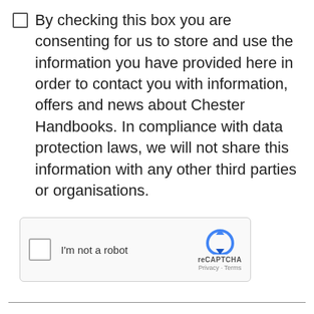By checking this box you are consenting for us to store and use the information you have provided here in order to contact you with information, offers and news about Chester Handbooks. In compliance with data protection laws, we will not share this information with any other third parties or organisations.
[Figure (other): reCAPTCHA widget with checkbox labelled 'I'm not a robot', reCAPTCHA logo and branding, Privacy and Terms links]
Submit